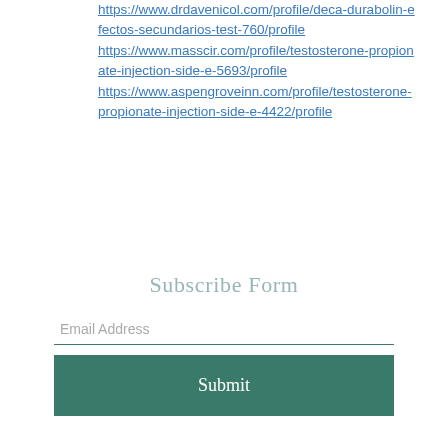https://www.drdavenicol.com/profile/deca-durabolin-efectos-secundarios-test-760/profile
https://www.masscir.com/profile/testosterone-propionate-injection-side-e-5693/profile
https://www.aspengroveinn.com/profile/testosterone-propionate-injection-side-e-4422/profile
Subscribe Form
Email Address
Submit